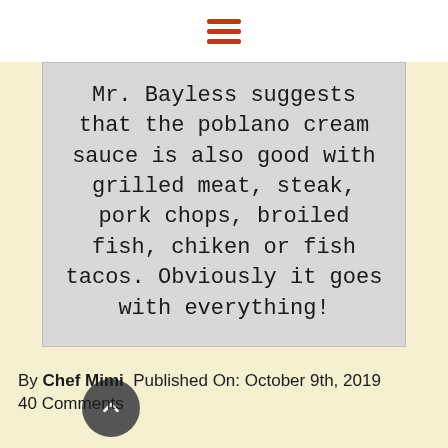☰ (hamburger menu icon)
Mr. Bayless suggests that the poblano cream sauce is also good with grilled meat, steak, pork chops, broiled fish, chiken or fish tacos. Obviously it goes with everything!
By Chef Mimi  Published On: October 9th, 2019
40 Comments